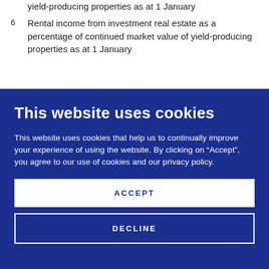yield-producing properties as at 1 January
6  Rental income from investment real estate as a percentage of continued market value of yield-producing properties as at 1 January
This website uses cookies
This website uses cookies that help us to continually improve your experience of using the website. By clicking on “Accept”, you agree to our use of cookies and our privacy policy.
ACCEPT
DECLINE